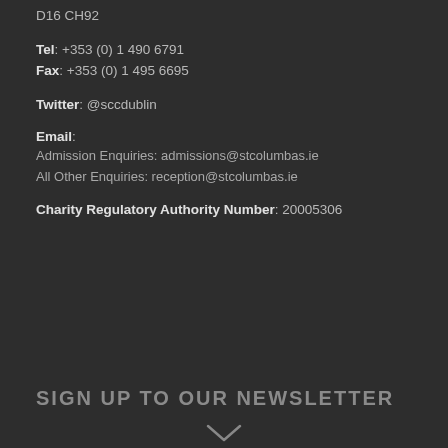D16 CH92
Tel: +353 (0) 1 490 6791
Fax: +353 (0) 1 495 6695
Twitter: @sccdublin
Email:
Admission Enquiries: admissions@stcolumbas.ie
All Other Enquiries: reception@stcolumbas.ie
Charity Regulatory Authority Number: 20005306
SIGN UP TO OUR NEWSLETTER